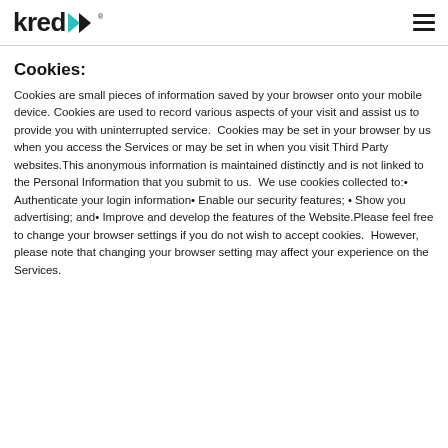kredX
Cookies:
Cookies are small pieces of information saved by your browser onto your mobile device. Cookies are used to record various aspects of your visit and assist us to provide you with uninterrupted service.  Cookies may be set in your browser by us when you access the Services or may be set in when you visit Third Party websites.This anonymous information is maintained distinctly and is not linked to the Personal Information that you submit to us.  We use cookies collected to:• Authenticate your login information• Enable our security features; • Show you advertising; and• Improve and develop the features of the Website.Please feel free to change your browser settings if you do not wish to accept cookies.  However, please note that changing your browser setting may affect your experience on the Services.